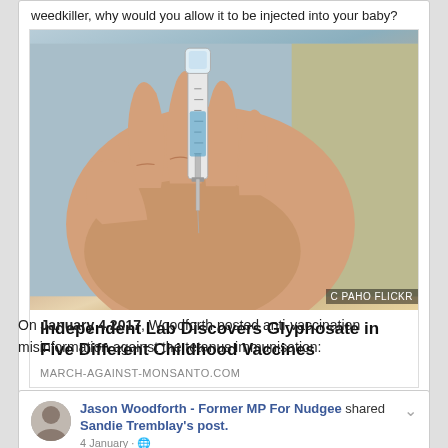weedkiller, why would you allow it to be injected into your baby?
[Figure (photo): Photo of a hand holding a syringe/vaccine needle with a vial, with PAHO FLICKR watermark in the bottom right corner.]
Independent Lab Discovers Glyphosate in Five Different Childhood Vaccines
MARCH-AGAINST-MONSANTO.COM
On January 4 2017, Woodforth posted anti-vaccination misinformation against the tetanus immunisation:
Jason Woodforth - Former MP For Nudgee shared Sandie Tremblay's post.
4 January